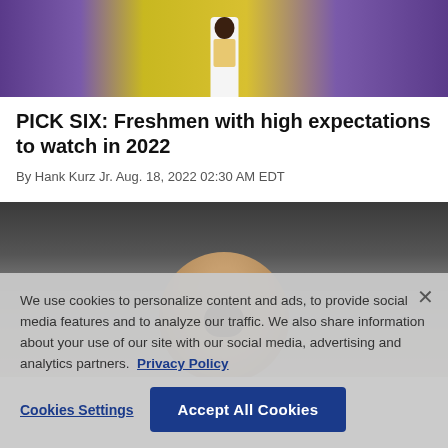[Figure (photo): Athlete in white shirt and yellow shorts standing on a yellow and purple background court]
PICK SIX: Freshmen with high expectations to watch in 2022
By Hank Kurz Jr. Aug. 18, 2022 02:30 AM EDT
[Figure (photo): Portrait photo of a young man, partially obscured by cookie consent overlay]
We use cookies to personalize content and ads, to provide social media features and to analyze our traffic. We also share information about your use of our site with our social media, advertising and analytics partners.  Privacy Policy
Cookies Settings   Accept All Cookies